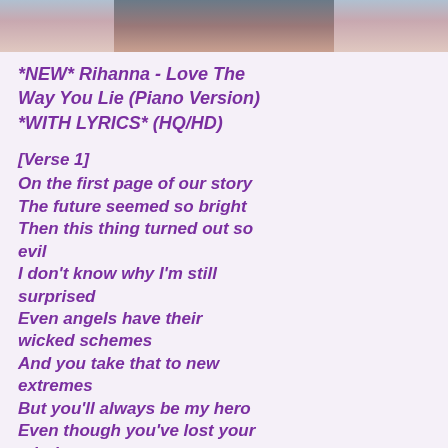[Figure (photo): Cropped photo of Rihanna, top portion showing face/hair, serving as header image]
*NEW* Rihanna - Love The Way You Lie (Piano Version) *WITH LYRICS* (HQ/HD)
[Verse 1]
On the first page of our story
The future seemed so bright
Then this thing turned out so evil
I don't know why I'm still surprised
Even angels have their wicked schemes
And you take that to new extremes
But you'll always be my hero
Even though you've lost your mind